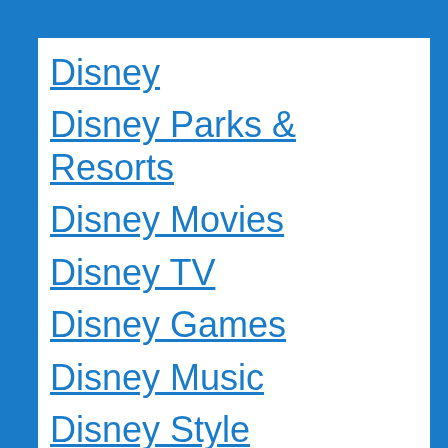Disney
Disney Parks & Resorts
Disney Movies
Disney TV
Disney Games
Disney Music
Disney Style
Disney Books